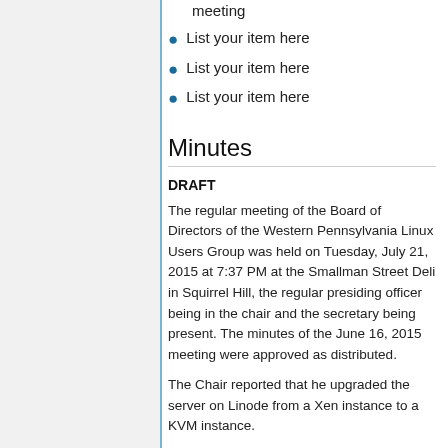meeting
List your item here
List your item here
List your item here
Minutes
DRAFT
The regular meeting of the Board of Directors of the Western Pennsylvania Linux Users Group was held on Tuesday, July 21, 2015 at 7:37 PM at the Smallman Street Deli in Squirrel Hill, the regular presiding officer being in the chair and the secretary being present. The minutes of the June 16, 2015 meeting were approved as distributed.
The Chair reported that he upgraded the server on Linode from a Xen instance to a KVM instance.